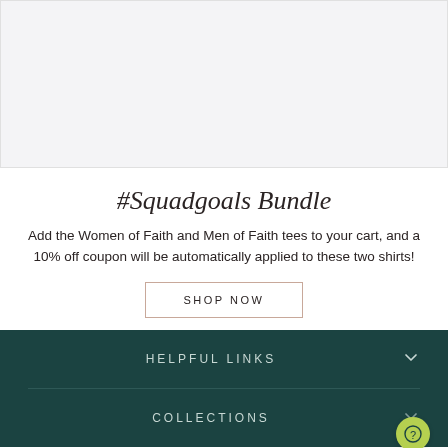[Figure (other): Light gray placeholder image area at top of page]
#Squadgoals Bundle
Add the Women of Faith and Men of Faith tees to your cart, and a 10% off coupon will be automatically applied to these two shirts!
SHOP NOW
HELPFUL LINKS
COLLECTIONS